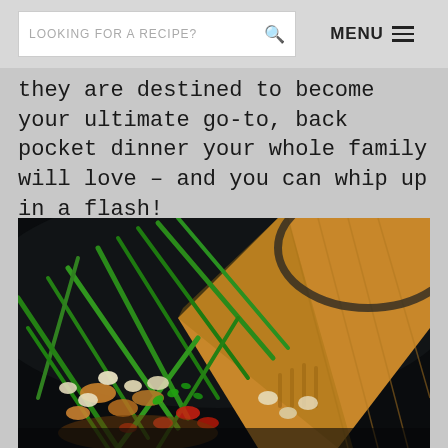LOOKING FOR A RECIPE?  MENU
they are destined to become your ultimate go-to, back pocket dinner your whole family will love – and you can whip up in a flash!
[Figure (photo): Close-up photo of a stir-fry dish with green beans, chicken pieces, red peppers, peanuts, and herbs being scooped with a wooden spatula in a dark wok]